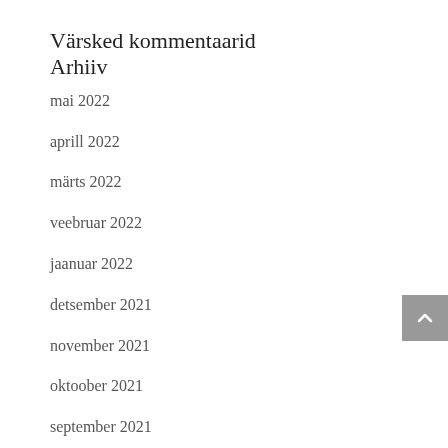Värsked kommentaarid
Arhiiv
mai 2022
aprill 2022
märts 2022
veebruar 2022
jaanuar 2022
detsember 2021
november 2021
oktoober 2021
september 2021
august 2021